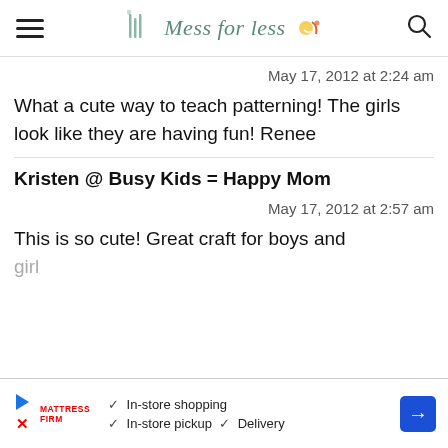Mess for Less
May 17, 2012 at 2:24 am
What a cute way to teach patterning! The girls look like they are having fun! Renee
Kristen @ Busy Kids = Happy Mom
May 17, 2012 at 2:57 am
This is so cute! Great craft for boys and girls
[Figure (other): Mattress Firm advertisement banner with in-store shopping, in-store pickup, and delivery checkmarks]